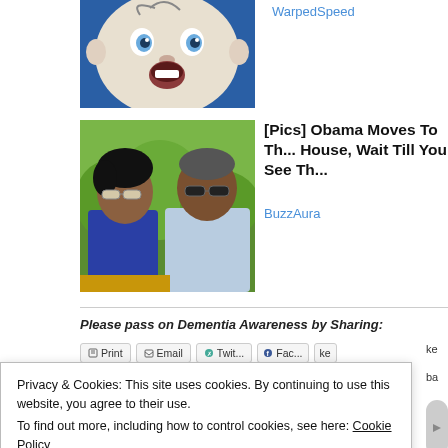[Figure (photo): Baby face illustration on blue background, Gerber-style baby with wide eyes and open mouth]
WarpedSpeed
[Figure (photo): Photo of Barack Obama and Michelle Obama wearing sunglasses, standing outdoors with green foliage background]
[Pics] Obama Moves To Th... House, Wait Till You See Th...
BuzzAura
Please pass on Dementia Awareness by Sharing:
Privacy & Cookies: This site uses cookies. By continuing to use this website, you agree to their use.
To find out more, including how to control cookies, see here: Cookie Policy
Close and accept